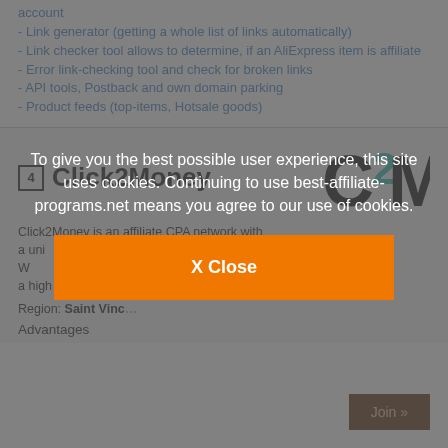account
- Link generator (getting a whole list of links automatically)
- Link checker tool allows to determine, if an AliExpress item is affiliate
- Error link-checking tool and check for broken links
- API tools, Postback and own domain parking
- Product feeds (top-items, Hotsale goods)
4 Click2Money
[Figure (logo): C2M logo — large letters C, 2, M in black and teal]
Click2Money is an affiliate CPA network with a unique offer for AliExpress Webmasters. They offer a high rate.
Region: Saint Vinc...
Advantages
To give you the best possible user experience, this site uses cookies. Continuing to use best-affiliate-programs.net means you agree to our use of cookies.
X Close